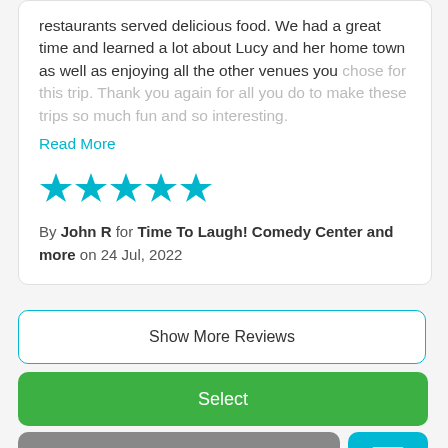restaurants served delicious food. We had a great time and learned a lot about Lucy and her home town as well as enjoying all the other venues you chose for this trip. Thank you again for all you do to make these trips so much fun and so interesting.
Read More
[Figure (other): 5 cyan/teal star rating icons]
By John R for Time To Laugh! Comedy Center and more on 24 Jul, 2022
Show More Reviews
Select
Download Brochure